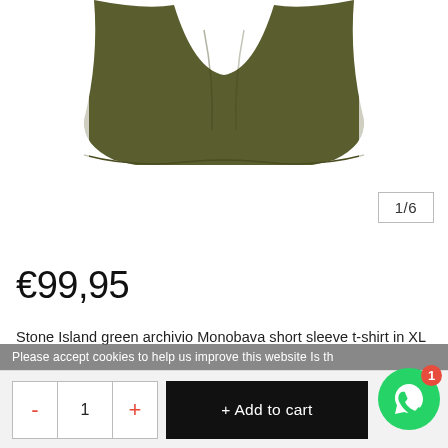[Figure (photo): Olive green t-shirt product photo, cropped, shown against white background. Only lower portion of shirt visible.]
1/6
€99,95
Stone Island green archivio Monobava short sleeve t-shirt in XL
Available in store:  Check availability
Size: *
XL
Please accept cookies to help us improve this website Is th
- 1 + Add to cart